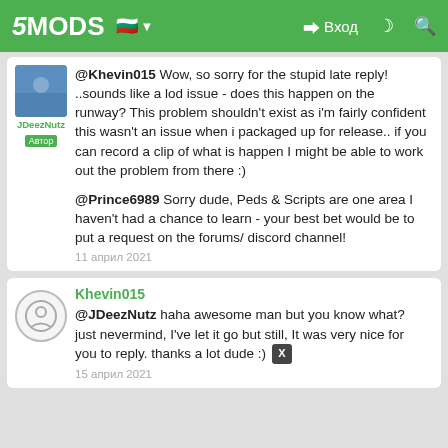5MODS — Вход
@Khevin015 Wow, so sorry for the stupid late reply! ..sounds like a lod issue - does this happen on the runway? This problem shouldn't exist as i'm fairly confident this wasn't an issue when i packaged up for release.. if you can record a clip of what is happen I might be able to work out the problem from there :)

@Prince6989 Sorry dude, Peds & Scripts are one area I haven't had a chance to learn - your best bet would be to put a request on the forums/ discord channel!
11 април 2021
Khevin015
@JDeezNutz haha awesome man but you know what? just nevermind, I've let it go but still, It was very nice for you to reply. thanks a lot dude :)
15 април 2021